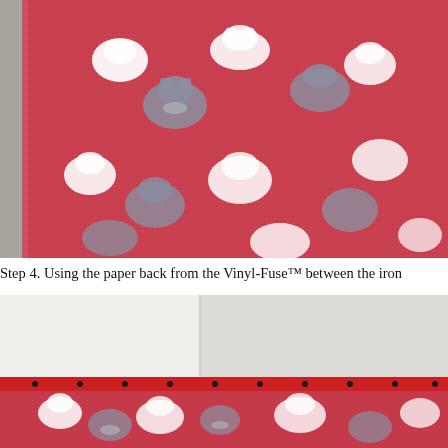[Figure (photo): Close-up photo of a red fabric with white and gray cartoon animal (cat/monster) pattern, folded at upper left corner, placed on a gray surface.]
Step 4. Using the paper back from the Vinyl-Fuse™ between the iron
[Figure (photo): Photo showing the bottom portion of the craft project: the red-patterned fabric is now attached with a red strip along the top edge with small black pins visible, resting against a white/gray background.]